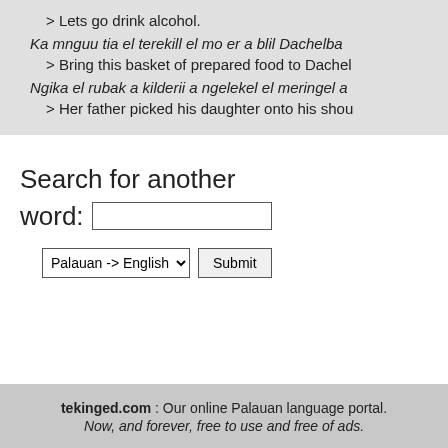> Lets go drink alcohol.
Ka mnguu tia el terekill el mo er a blil Dachelba
> Bring this basket of prepared food to Dachel
Ngika el rubak a kilderii a ngelekel el meringel a
> Her father picked his daughter onto his shou
Search for another word:
tekinged.com : Our online Palauan language portal. Now, and forever, free to use and free of ads.